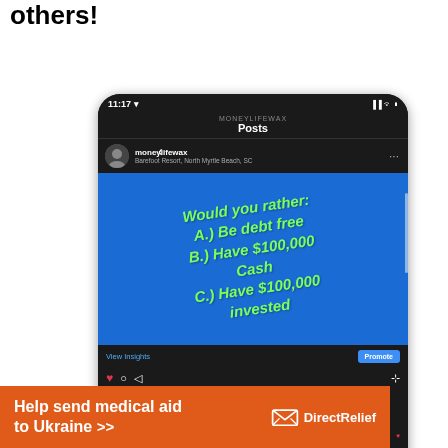others!
[Figure (screenshot): Instagram screenshot from moneylifewax account showing a post with a blue background and green italic text reading: 'Would you rather: A.) Be debt free B.) Have $100,000 Cash C.) Have $100,000 invested'. Post includes View Insights and Promote buttons, heart/comment/share/bookmark icons, liked by currybear25 and others, caption mentioning #personalfinance and Option 1 = 100% debt free, View all 29 comments, and a comment from coachmerriman.]
[Figure (screenshot): Ad banner for Direct Relief: orange background with text 'Help send medical aid to Ukraine >>' in bold white, and the DirectRelief logo with a box/package icon.]